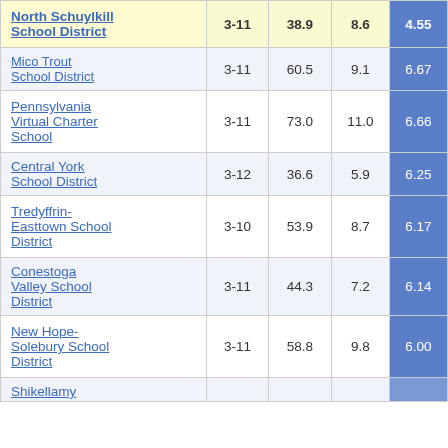| District | Grades | Col3 | Col4 | Score |
| --- | --- | --- | --- | --- |
| North Schuylkill School District | 3-11 | 38.9 | 8.6 | 4.55 |
| Mico Trout School District | 3-11 | 60.5 | 9.1 | 6.67 |
| Pennsylvania Virtual Charter School | 3-11 | 73.0 | 11.0 | 6.66 |
| Central York School District | 3-12 | 36.6 | 5.9 | 6.25 |
| Tredyffrin-Easttown School District | 3-10 | 53.9 | 8.7 | 6.17 |
| Conestoga Valley School District | 3-11 | 44.3 | 7.2 | 6.14 |
| New Hope-Solebury School District | 3-11 | 58.8 | 9.8 | 6.00 |
| Shikellamy | 3-11 | 41.5 | 7.7 |  |